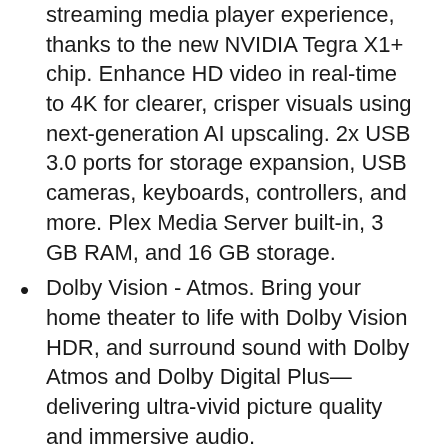streaming media player experience, thanks to the new NVIDIA Tegra X1+ chip. Enhance HD video in real-time to 4K for clearer, crisper visuals using next-generation AI upscaling. 2x USB 3.0 ports for storage expansion, USB cameras, keyboards, controllers, and more. Plex Media Server built-in, 3 GB RAM, and 16 GB storage.
Dolby Vision - Atmos. Bring your home theater to life with Dolby Vision HDR, and surround sound with Dolby Atmos and Dolby Digital Plus—delivering ultra-vivid picture quality and immersive audio.
Best-In-Class Design. Designed for the most demanding users and beautifully designed to be the perfect centerpiece